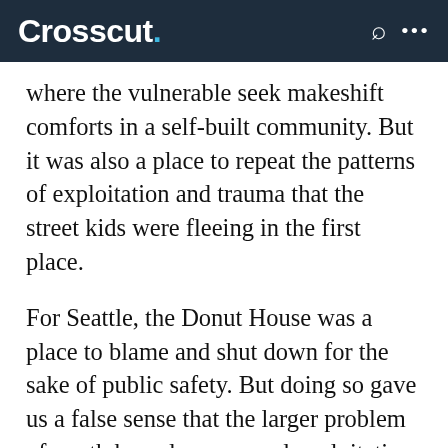Crosscut.
where the vulnerable seek makeshift comforts in a self-built community. But it was also a place to repeat the patterns of exploitation and trauma that the street kids were fleeing in the first place.
For Seattle, the Donut House was a place to blame and shut down for the sake of public safety. But doing so gave us a false sense that the larger problem of youth homelessness and exploitation had been taken care of. Not true. Homeless kids are still on the streets, and as vulnerable as they